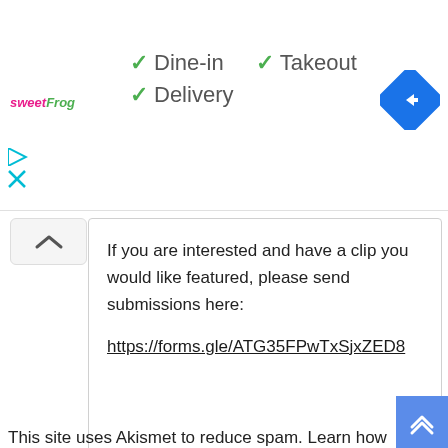[Figure (screenshot): Top banner with sweetFrog logo, service options (Dine-in, Takeout, Delivery) with green checkmarks, and a blue navigation diamond icon on the right.]
If you are interested and have a clip you would like featured, please send submissions here:
https://forms.gle/ATG35FPwTxSjxZED8
Leave a Reply
Enter your comment here...
This site uses Akismet to reduce spam. Learn how